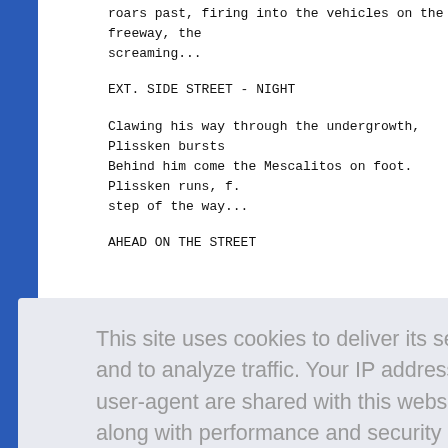roars past, firing into the vehicles on the freeway, the screaming...
EXT. SIDE STREET - NIGHT
Clawing his way through the undergrowth, Plissken bursts. Behind him come the Mescalitos on foot. Plissken runs, f. step of the way...
AHEAD ON THE STREET
car scr ible. Ca
This site uses cookies to deliver its services and to analyze traffic. Your IP address and user-agent are shared with this website along with performance and security metrics to ensure quality of service, generate usage statistics, and to detect and address abuse.
Learn more
Got it!
behind th e flying back sea way in a
A GIANT TONGUE OF FLAME